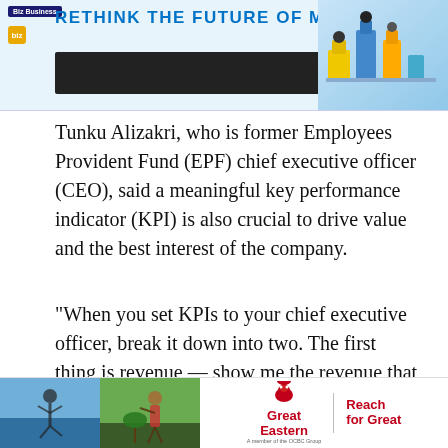[Figure (screenshot): Top banner with 'Rethink the Future of Manufacturing' headline in blue on light blue background, with manufacturing/robotics illustration on the right side. Includes Biz logo and yellow button.]
Tunku Alizakri, who is former Employees Provident Fund (EPF) chief executive officer (CEO), said a meaningful key performance indicator (KPI) is also crucial to drive value and the best interest of the company.
"When you set KPIs to your chief executive officer, break it down into two. The first thing is revenue — show me the revenue that comes from sustainable practices and new business
[Figure (photo): Bottom advertisement banner showing two photos (person jumping, person gardening) and Great Eastern 'Reach for Great' logo.]